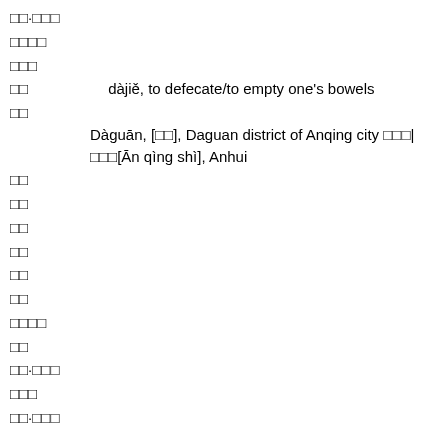□□·□□□
□□□□
□□□
□□        dàjiě, to defecate/to empty one's bowels
□□        Dàguān, [□□], Daguan district of Anqing city □□□|□□□[Ān qìng shì], Anhui
□□
□□
□□
□□
□□
□□
□□□□
□□
□□·□□□
□□□
□□·□□□